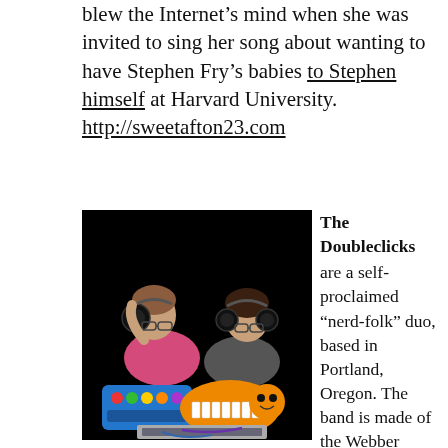blew the Internet's mind when she was invited to sing her song about wanting to have Stephen Fry's babies to Stephen himself at Harvard University. http://sweetafton23.com
[Figure (photo): Two young women leaning over colorful musical instruments and a laptop on a black background. One woman on the left wears a pink top and holds large headphones; the woman on the right wears a gray top. Instruments include a toy keyboard and a colorful device.]
The Doubleclicks are a self-proclaimed “nerd-folk” duo, based in Portland, Oregon. The band is made of the Webber sisters: Berklee College of Music graduate and cellist Aubrey, and songwriter and ukulele player